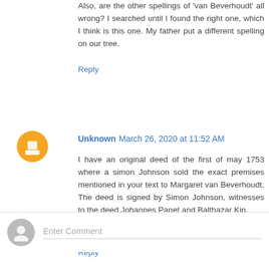Also, are the other spellings of 'van Beverhoudt' all wrong? I searched until I found the right one, which I think is this one. My father put a different spelling on our tree.
Reply
Unknown  March 26, 2020 at 11:52 AM
I have an original deed of the first of may 1753 where a simon Johnson sold the exact premises mentioned in your text to Margaret van Beverhoudt. The deed is signed by Simon Johnson, witnesses to the deed Johannes Panet and Balthazar Kip.
there is no registration signature by the authorities.
best regards dirk rasschaert,belgium
Reply
Enter Comment